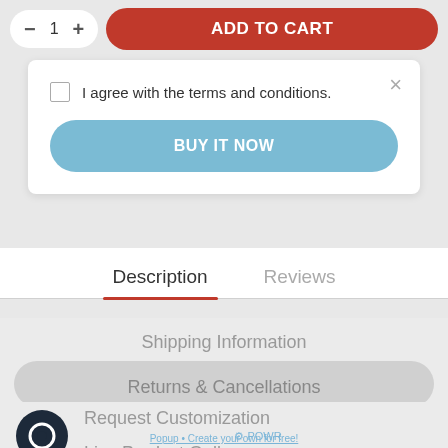[Figure (screenshot): E-commerce product page screenshot showing quantity controls, Add to Cart button, terms and conditions popup with Buy It Now button, and product description tabs with Shipping Information, Returns & Cancellations, Request Customization, and Live Product Gallery accordion items, plus a chat icon and POWR branding.]